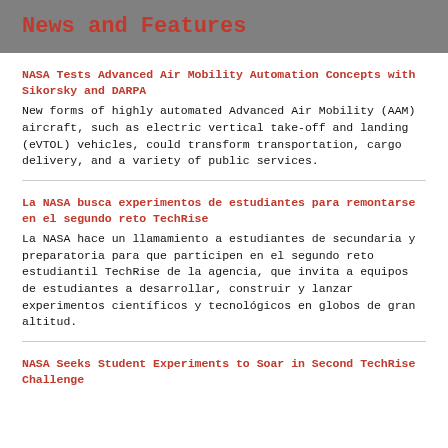News and Features
NASA Tests Advanced Air Mobility Automation Concepts with Sikorsky and DARPA
New forms of highly automated Advanced Air Mobility (AAM) aircraft, such as electric vertical take-off and landing (eVTOL) vehicles, could transform transportation, cargo delivery, and a variety of public services.
La NASA busca experimentos de estudiantes para remontarse en el segundo reto TechRise
La NASA hace un llamamiento a estudiantes de secundaria y preparatoria para que participen en el segundo reto estudiantil TechRise de la agencia, que invita a equipos de estudiantes a desarrollar, construir y lanzar experimentos científicos y tecnológicos en globos de gran altitud.
NASA Seeks Student Experiments to Soar in Second TechRise Challenge